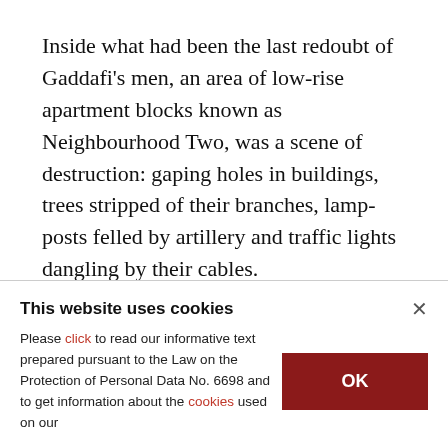Inside what had been the last redoubt of Gaddafi's men, an area of low-rise apartment blocks known as Neighbourhood Two, was a scene of destruction: gaping holes in buildings, trees stripped of their branches, lamp-posts felled by artillery and traffic lights dangling by their cables.
Reuters saw five dejected-looking Gaddafi prisoners marched down a street, guarded by NTC
This website uses cookies
Please click to read our informative text prepared pursuant to the Law on the Protection of Personal Data No. 6698 and to get information about the cookies used on our